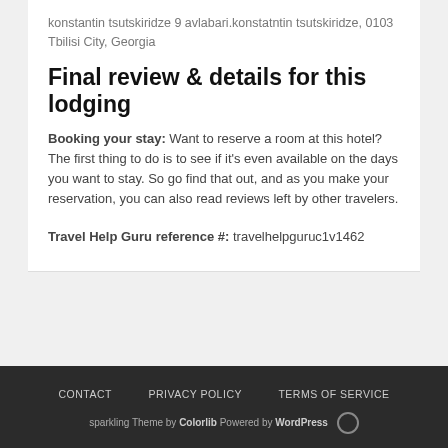konstantin tsutskiridze 9 avlabari.konstatntin tsutskiridze, 0103 Tbilisi City, Georgia
Final review & details for this lodging
Booking your stay: Want to reserve a room at this hotel? The first thing to do is to see if it's even available on the days you want to stay. So go find that out, and as you make your reservation, you can also read reviews left by other travelers.
Travel Help Guru reference #: travelhelpguruc1v1462
CONTACT   PRIVACY POLICY   TERMS OF SERVICE
sparkling Theme by Colorlib Powered by WordPress